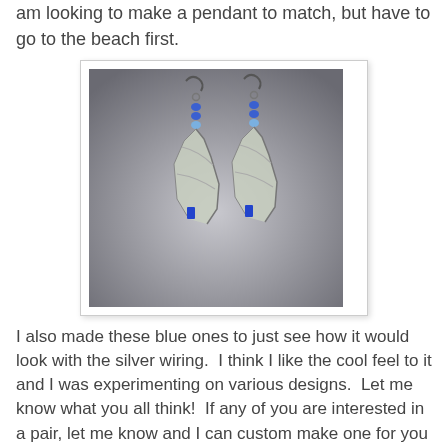am looking to make a pendant to match, but have to go to the beach first.
[Figure (photo): Two handmade earrings with frosted/clear sea glass pieces wrapped in silver wire, with blue beads and silver fish hook ear wires, displayed on a light background.]
I also made these blue ones to just see how it would look with the silver wiring.  I think I like the cool feel to it and I was experimenting on various designs.  Let me know what you all think!  If any of you are interested in a pair, let me know and I can custom make one for you in any color and shape you desire.  Each stone I find is usually about an inch long, so just let me know if you want anything larger or smaller.  Anyway, it's time for bed.  See you soon!